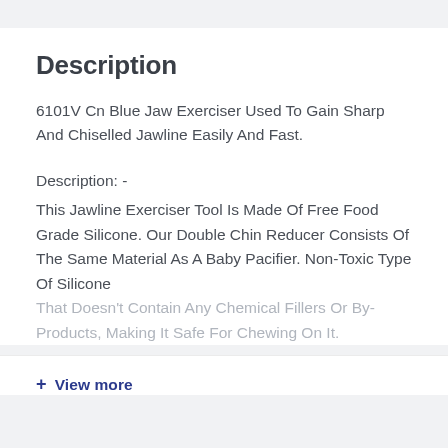Description
6101V Cn Blue Jaw Exerciser Used To Gain Sharp And Chiselled Jawline Easily And Fast.
Description: -
This Jawline Exerciser Tool Is Made Of Free Food Grade Silicone. Our Double Chin Reducer Consists Of The Same Material As A Baby Pacifier. Non-Toxic Type Of Silicone That Doesn’t Contain Any Chemical Fillers Or By-Products, Making It Safe For Chewing On It.
+ View more